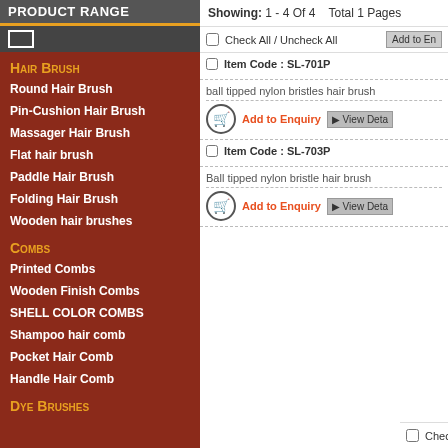Product Range
Hair Brush
Round Hair Brush
Pin-Cushion Hair Brush
Massager Hair Brush
Flat hair brush
Paddle Hair Brush
Folding Hair Brush
Wooden hair brushes
Combs
Printed Combs
Wooden Finish Combs
SHELL COLOR COMBS
Shampoo hair comb
Pocket Hair Comb
Handle Hair Comb
Dye Brushes
Showing: 1 - 4 Of 4   Total 1 Pages
Item Code : SL-701P
ball tipped nylon bristles hair brush
Add to Enquiry   ▶ View Details
Item Code : SL-703P
Ball tipped nylon bristle hair brush
Add to Enquiry   ▶ View Details